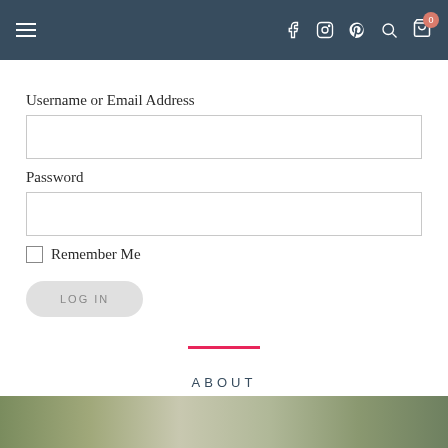Navigation header with hamburger menu and social icons: f, Instagram, Pinterest, search, cart (0)
Username or Email Address
Password
Remember Me
LOG IN
ABOUT
[Figure (photo): Bottom partial image of outdoor/nature scene]